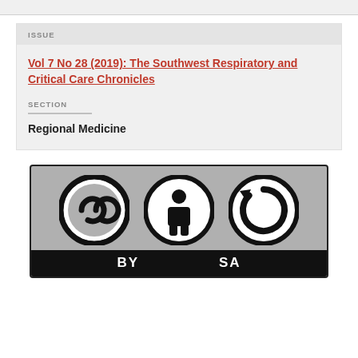ISSUE
Vol 7 No 28 (2019): The Southwest Respiratory and Critical Care Chronicles
SECTION
Regional Medicine
[Figure (logo): Creative Commons BY-SA license badge with CC, person (BY), and share-alike (SA) icons on grey background with black text bar showing BY SA]